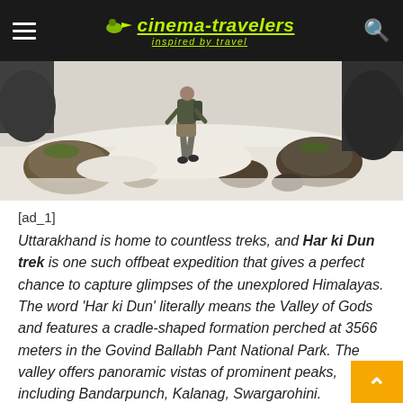cinema-travelers inspired by travel
[Figure (photo): Person walking on snowy terrain with rocks in a Himalayan landscape, viewed from behind]
[ad_1]
Uttarakhand is home to countless treks, and Har ki Dun trek is one such offbeat expedition that gives a perfect chance to capture glimpses of the unexplored Himalayas. The word 'Har ki Dun' literally means the Valley of Gods and features a cradle-shaped formation perched at 3566 meters in the Govind Ballabh Pant National Park. The valley offers panoramic vistas of prominent peaks, including Bandarpunch, Kalanag, Swargarohini.